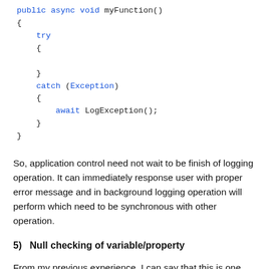[Figure (screenshot): Code block showing C# async method with try-catch block: public async void myFunction() { try { } catch (Exception) { await LogException(); } }]
So, application control need not wait to be finish of logging operation. It can immediately response user with proper error message and in background logging operation will perform which need to be synchronous with other operation.
5) Null checking of variable/property
From my previous experience, I can say that this is one big pitfall in code.